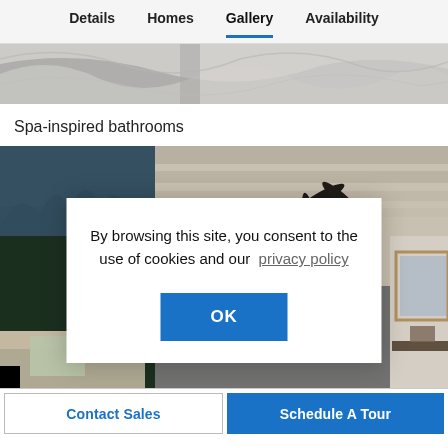Details  Homes  Gallery  Availability
[Figure (photo): Partial view of a room with abstract wall art, close-up showing swirling gray tones]
Spa-inspired bathrooms
[Figure (photo): Outdoor patio area at dusk with ceiling fan, viewed from below; trees and evening sky visible through glass walls; warm interior light in background]
By browsing this site, you consent to the use of cookies and our privacy policy
OK
Contact Sales
Schedule A Tour